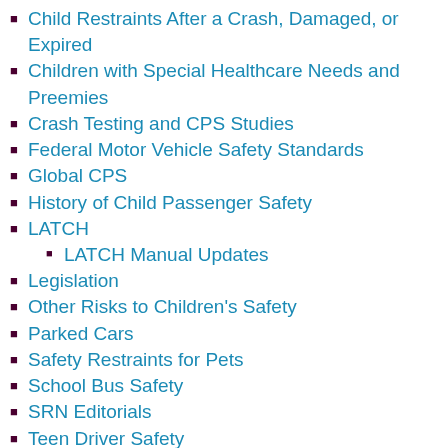Child Restraints After a Crash, Damaged, or Expired
Children with Special Healthcare Needs and Preemies
Crash Testing and CPS Studies
Federal Motor Vehicle Safety Standards
Global CPS
History of Child Passenger Safety
LATCH
LATCH Manual Updates
Legislation
Other Risks to Children's Safety
Parked Cars
Safety Restraints for Pets
School Bus Safety
SRN Editorials
Teen Driver Safety
Traveling with Children
Uncategorized
Using Car Seats, Booster Seats, and Seat Belts